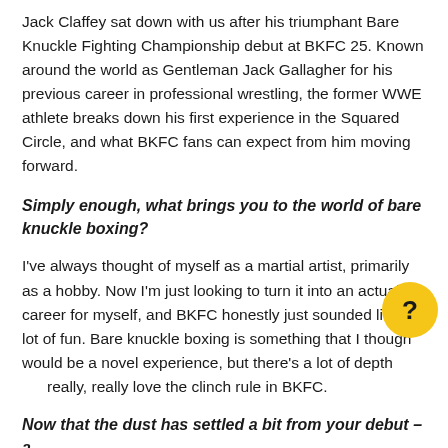Jack Claffey sat down with us after his triumphant Bare Knuckle Fighting Championship debut at BKFC 25. Known around the world as Gentleman Jack Gallagher for his previous career in professional wrestling, the former WWE athlete breaks down his first experience in the Squared Circle, and what BKFC fans can expect from him moving forward.
Simply enough, what brings you to the world of bare knuckle boxing?
I've always thought of myself as a martial artist, primarily as a hobby. Now I'm just looking to turn it into an actual career for myself, and BKFC honestly just sounded like a lot of fun. Bare knuckle boxing is something that I thought would be a novel experience, but there's a lot of depth to it. I really, really love the clinch rule in BKFC.
Now that the dust has settled a bit from your debut – a